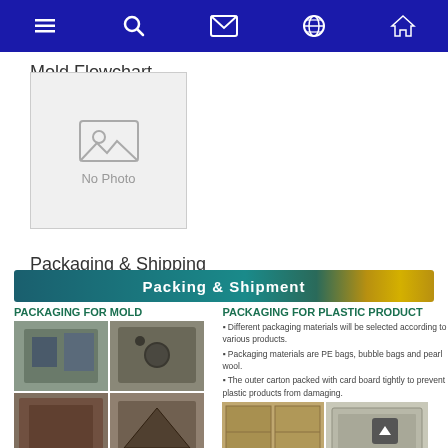Navigation bar with menu, search, mail, globe, and home icons
Mold Flowchart
[Figure (photo): No Photo placeholder image]
Packaging & Shipping
[Figure (infographic): Packing & Shipment banner with two columns: PACKAGING FOR MOLD (with photos of molds in wooden crates) and PACKAGING FOR PLASTIC PRODUCT (with bullet points about packaging materials: PE bags, bubble bags, pearl wool, outer carton with card board; and photos of packaged products)]